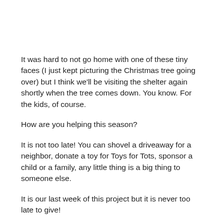It was hard to not go home with one of these tiny faces (I just kept picturing the Christmas tree going over) but I think we'll be visiting the shelter again shortly when the tree comes down. You know. For the kids, of course.
How are you helping this season?
It is not too late! You can shovel a driveaway for a neighbor, donate a toy for Toys for Tots, sponsor a child or a family, any little thing is a big thing to someone else.
It is our last week of this project but it is never too late to give!
If you've donated this season to any cause and have blogged about it, please link up! And if you haven't yet, go do it, post about it and link up here, or leave your favorite cause in the comments! There is no better way to end 2012!